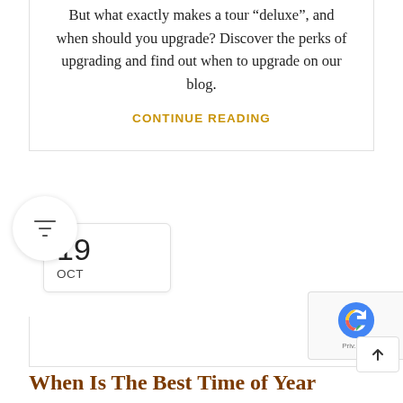But what exactly makes a tour “deluxe”, and when should you upgrade? Discover the perks of upgrading and find out when to upgrade on our blog.
CONTINUE READING
[Figure (other): Filter funnel icon inside a circular white bubble]
19 OCT
[Figure (other): Google reCAPTCHA badge with logo and privacy/terms text]
When Is The Best Time of Year